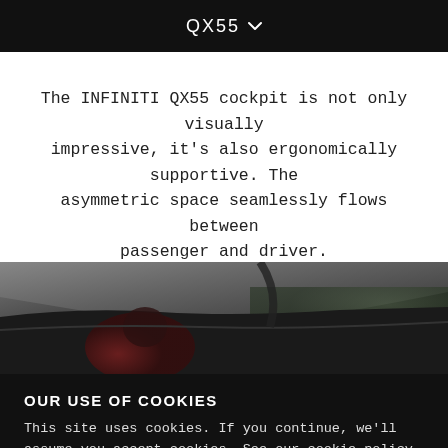QX55
The INFINITI QX55 cockpit is not only visually impressive, it's also ergonomically supportive. The asymmetric space seamlessly flows between passenger and driver.
[Figure (photo): Partial view of INFINITI QX55 car interior/exterior, dark moody photograph showing dashboard and window area]
OUR USE OF COOKIES
This site uses cookies. If you continue, we'll assume you accept cookies. See our cookie policy.
ACCEPT & CLOSE